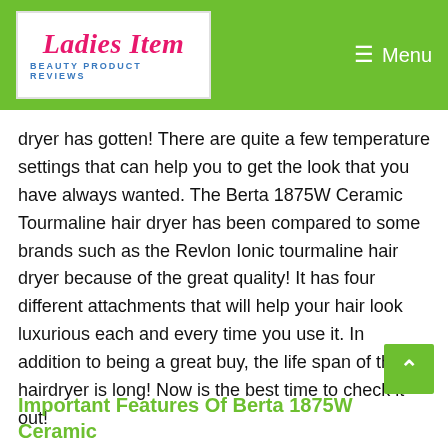Ladies Item — Beauty Product Reviews | Menu
dryer has gotten! There are quite a few temperature settings that can help you to get the look that you have always wanted. The Berta 1875W Ceramic Tourmaline hair dryer has been compared to some brands such as the Revlon Ionic tourmaline hair dryer because of the great quality! It has four different attachments that will help your hair look luxurious each and every time you use it. In addition to being a great buy, the life span of this hairdryer is long! Now is the best time to check it out!
Important Features Of Berta 1875W Ceramic